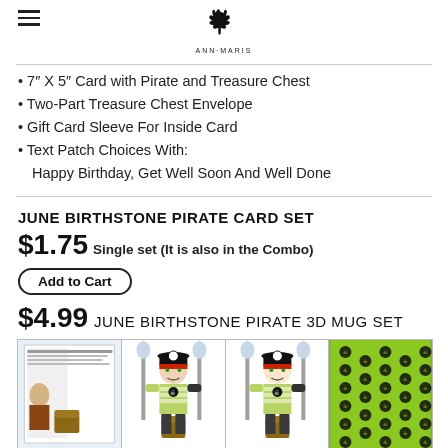AnnMaris logo with hamburger menu
• 7" X 5" Card with Pirate and Treasure Chest
• Two-Part Treasure Chest Envelope
• Gift Card Sleeve For Inside Card
• Text Patch Choices With:
Happy Birthday, Get Well Soon And Well Done
JUNE BIRTHSTONE PIRATE CARD SET
$1.75 Single set (It is also in the Combo)
Add to Cart
$4.99 JUNE BIRTHSTONE PIRATE 3D MUG SET
[Figure (photo): Four-panel image strip showing pirate card set components including instruction sheet, pirate character illustrations, and green pattern background]